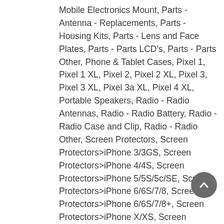Mobile Electronics Mount, Parts - Antenna - Replacements, Parts - Housing Kits, Parts - Lens and Face Plates, Parts - Parts LCD's, Parts - Parts Other, Phone & Tablet Cases, Pixel 1, Pixel 1 XL, Pixel 2, Pixel 2 XL, Pixel 3, Pixel 3 XL, Pixel 3a XL, Pixel 4 XL, Portable Speakers, Radio - Radio Antennas, Radio - Radio Battery, Radio - Radio Case and Clip, Radio - Radio Other, Screen Protectors, Screen Protectors>iPhone 3/3GS, Screen Protectors>iPhone 4/4S, Screen Protectors>iPhone 5/5S/5c/SE, Screen Protectors>iPhone 6/6S/7/8, Screen Protectors>iPhone 6/6S/7/8+, Screen Protectors>iPhone X/XS, Screen Protectors>iPhone XR, Screen Protectors>iPhone XS Max, Selfie Stick, Stylus, Tablet Accessories, Tablet Accessories - Galaxy Tab, Tablet Accessories - Kindle, Tablet Accessories - Playbook, Tablet Accessories - XOOM, Tempered Glass, Tools, Tools - Tools Other, Toy Bundles, Toys, Toys - Remote, Phone, Toys, Pla...